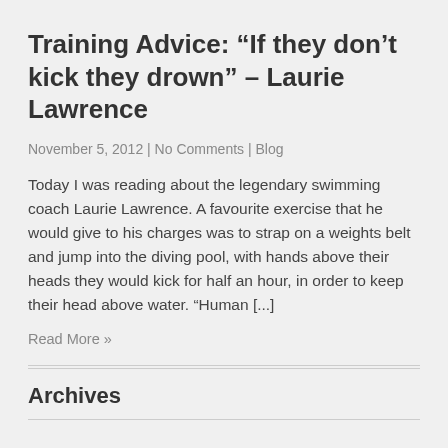Training Advice: “If they don’t kick they drown” – Laurie Lawrence
November 5, 2012 | No Comments | Blog
Today I was reading about the legendary swimming coach Laurie Lawrence. A favourite exercise that he would give to his charges was to strap on a weights belt and jump into the diving pool, with hands above their heads they would kick for half an hour, in order to keep their head above water. “Human [...]
Read More »
Archives